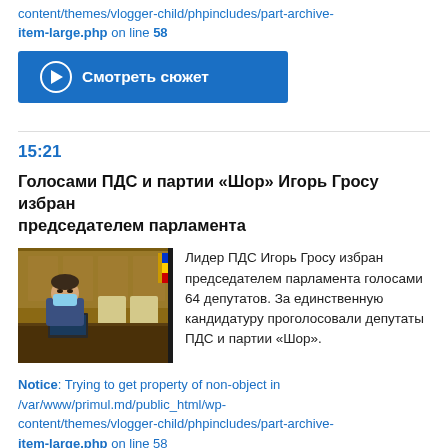content/themes/vlogger-child/phpincludes/part-archive-item-large.php on line 58
[Figure (other): Blue button with play icon and Russian text 'Смотреть сюжет']
15:21
Голосами ПДС и партии «Шор» Игорь Гросу избран председателем парламента
[Figure (photo): Photo of Igor Grosu wearing a mask at a parliament session]
Лидер ПДС Игорь Гросу избран председателем парламента голосами 64 депутатов. За единственную кандидатуру проголосовали депутаты ПДС и партии «Шор».
Notice: Trying to get property of non-object in /var/www/primul.md/public_html/wp-content/themes/vlogger-child/phpincludes/part-archive-item-large.php on line 58